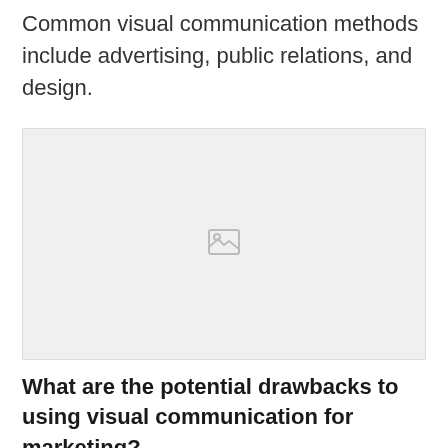Common visual communication methods include advertising, public relations, and design.
[Figure (photo): Placeholder image box with broken image icon in center]
What are the potential drawbacks to using visual communication for marketing?